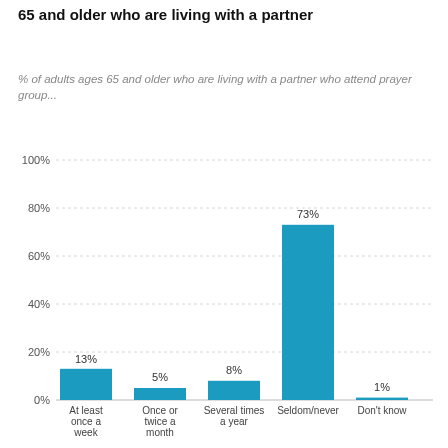65 and older who are living with a partner
% of adults ages 65 and older who are living with a partner who attend prayer group...
[Figure (bar-chart): % of adults ages 65 and older who are living with a partner who attend prayer group]